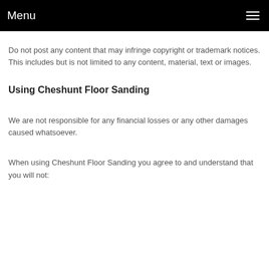Menu
Do not post any content that may infringe copyright or trademark notices. This includes but is not limited to any content, material, text or images.
Using Cheshunt Floor Sanding
We are not responsible for any financial losses or any other damages caused whatsoever.
When using Cheshunt Floor Sanding you agree to and understand that you will not: